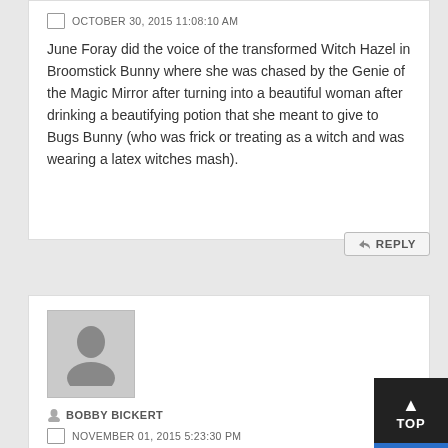OCTOBER 30, 2015 11:08:10 AM
June Foray did the voice of the transformed Witch Hazel in Broomstick Bunny where she was chased by the Genie of the Magic Mirror after turning into a beautiful woman after drinking a beautifying potion that she meant to give to Bugs Bunny (who was frick or treating as a witch and was wearing a latex witches mash).
[Figure (other): Reply button with arrow icon]
[Figure (other): User avatar placeholder image with generic person silhouette]
BOBBY BICKERT
NOVEMBER 01, 2015 5:23:30 PM
I wonder if the transformed Witch Hazel was meant to be a caricature of June Foray? (I'm going more by the storyboard sketches in Chuck Amuck
[Figure (other): TOP button - dark background with upward arrow and blue bar at bottom]